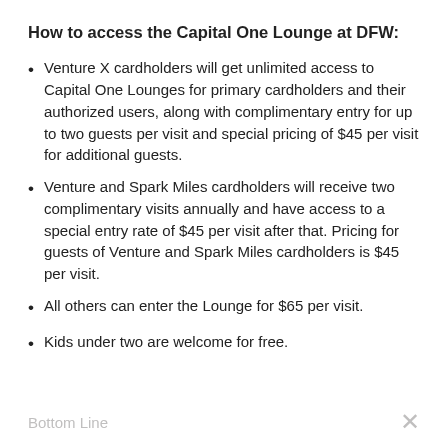How to access the Capital One Lounge at DFW:
Venture X cardholders will get unlimited access to Capital One Lounges for primary cardholders and their authorized users, along with complimentary entry for up to two guests per visit and special pricing of $45 per visit for additional guests.
Venture and Spark Miles cardholders will receive two complimentary visits annually and have access to a special entry rate of $45 per visit after that. Pricing for guests of Venture and Spark Miles cardholders is $45 per visit.
All others can enter the Lounge for $65 per visit.
Kids under two are welcome for free.
Bottom Line